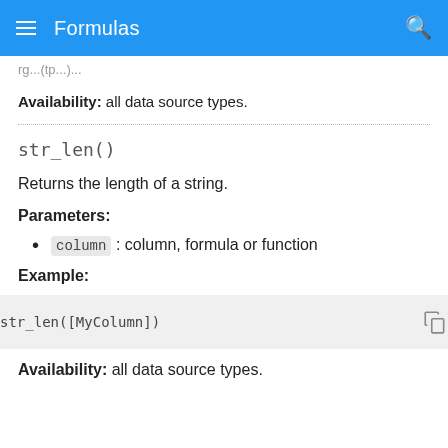Formulas
Availability: all data source types.
Returns the length of a string.
Parameters:
column: column, formula or function
Example:
Availability: all data source types.